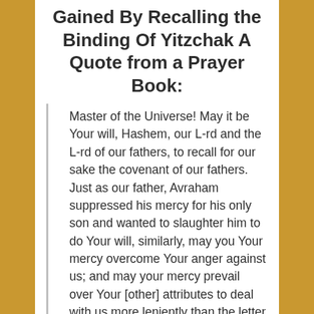Gained By Recalling the Binding Of Yitzchak A Quote from a Prayer Book:
Master of the Universe! May it be Your will, Hashem, our L-rd and the L-rd of our fathers, to recall for our sake the covenant of our fathers. Just as our father, Avraham suppressed his mercy for his only son and wanted to slaughter him to do Your will, similarly, may you Your mercy overcome Your anger against us; and may your mercy prevail over Your [other] attributes to deal with us more leniently than the letter of Your law; and deal with us, Hashem,